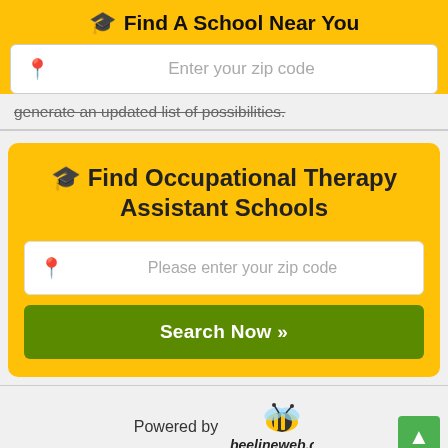[Figure (screenshot): Top navigation bar with 'Find A School Near You' heading and zip code input field on yellow/amber background]
generate an updated list of possibilities.
[Figure (infographic): Yellow card with 'Find Occupational Therapy Assistant Schools' heading, zip code input, and green Search Now button]
[Figure (logo): Powered by beelineweb.com logo with bee illustration]
Trade-Schools.net works with schools and colleges in North America to find prospective students and is compensated for successful connections. Our process strives to ensure the